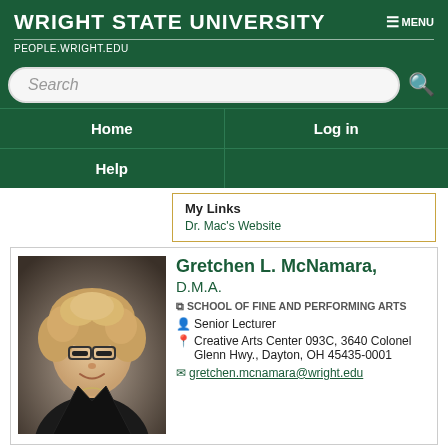WRIGHT STATE UNIVERSITY | MENU
PEOPLE.WRIGHT.EDU
[Figure (screenshot): Search bar with magnifying glass icon on green background]
Home    Log in
Help
My Links
Dr. Mac's Website
[Figure (photo): Professional headshot of Gretchen L. McNamara, a woman with curly blonde hair and glasses, wearing a dark jacket]
Gretchen L. McNamara, D.M.A.
SCHOOL OF FINE AND PERFORMING ARTS
Senior Lecturer
Creative Arts Center 093C, 3640 Colonel Glenn Hwy., Dayton, OH 45435-0001
gretchen.mcnamara@wright.edu
Gretchen McNamara, D.M.A.